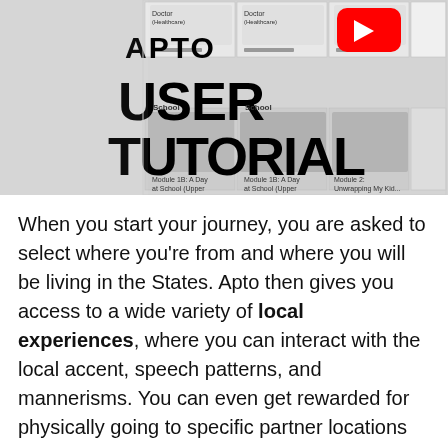[Figure (screenshot): Screenshot of the Apto app interface showing various modules including Doctor (Healthcare), School, and other local experience modules. Overlaid with a YouTube logo/play button and bold text reading 'APTO USER TUTORIAL'.]
When you start your journey, you are asked to select where you're from and where you will be living in the States. Apto then gives you access to a wide variety of local experiences, where you can interact with the local accent, speech patterns, and mannerisms. You can even get rewarded for physically going to specific partner locations and putting into practice what you learned in the lesson.
They also provide ample live support and a wide range of tools, including accent reduction